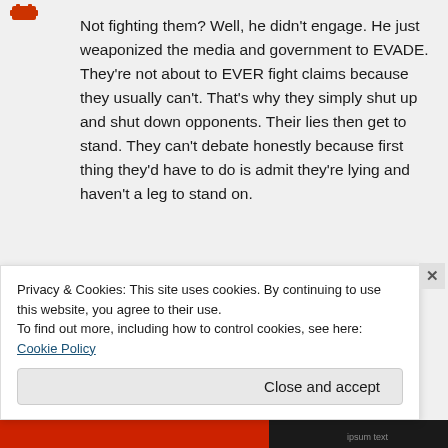Not fighting them? Well, he didn't engage. He just weaponized the media and government to EVADE. They're not about to EVER fight claims because they usually can't. That's why they simply shut up and shut down opponents. Their lies then get to stand. They can't debate honestly because first thing they'd have to do is admit they're lying and haven't a leg to stand on.
Privacy & Cookies: This site uses cookies. By continuing to use this website, you agree to their use. To find out more, including how to control cookies, see here: Cookie Policy
Close and accept